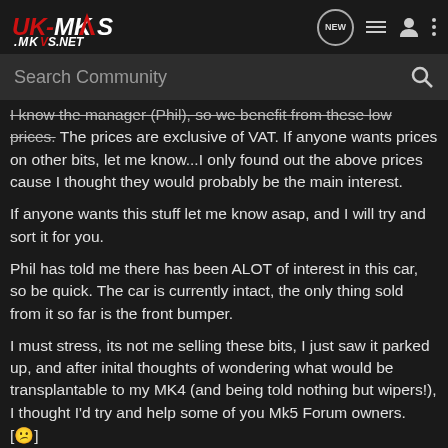UK-MK5s.NET
Search Community
I know the manager (Phil), so we benefit from these low prices. The prices are exclusive of VAT. If anyone wants prices on other bits, let me know...I only found out the above prices cause I thought they would probably be the main interest.
If anyone wants this stuff let me know asap, and I will try and sort it for you.
Phil has told me there has been ALOT of interest in this car, so be quick. The car is currently intact, the only thing sold from it so far is the front bumper.
I must stress, its not me selling these bits, I just saw it parked up, and after inital thoughts of wondering what would be transplantable to my MK4 (and being told nothing but wipers!), I thought I'd try and help some of you Mk5 Forum owners. [😕]